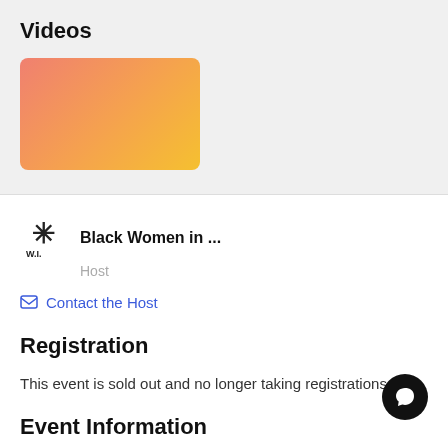Videos
[Figure (illustration): Video thumbnail with pink-to-orange-to-yellow gradient background, rounded corners]
Black Women in ...  Host
Contact the Host
Registration
This event is sold out and no longer taking registrations.
Event Information